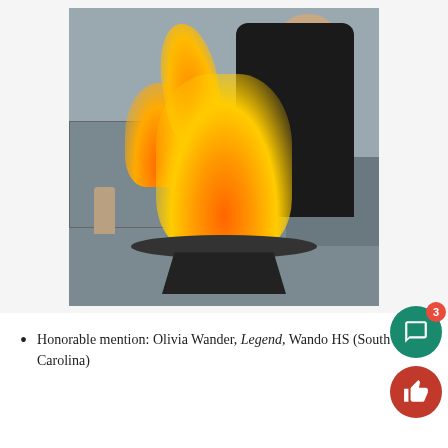[Figure (photo): A young man in a dark jacket cooking in a kitchen, producing a large dramatic flame in a pan on a gas burner. He is smiling at the camera while holding the pan handles. Kitchen equipment visible in the background.]
Honorable mention: Olivia Wander, Legend, Wando HS (South Carolina)